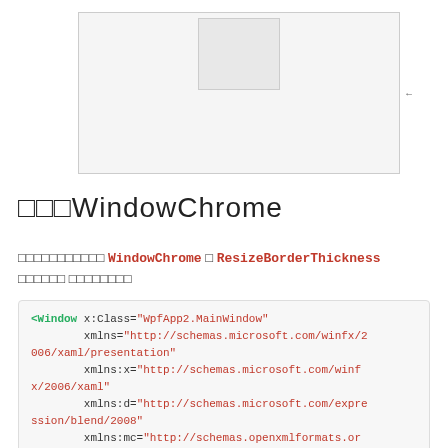[Figure (screenshot): A window UI mockup showing a white rectangular window with a smaller gray/white box near the top center, and a resize arrow on the right side.]
□□□WindowChrome
□□□□□□□□□□□ WindowChrome □ ResizeBorderThickness □□□□□□ □□□□□□□□
<Window x:Class="WpfApp2.MainWindow"
        xmlns="http://schemas.microsoft.com/winfx/2006/xaml/presentation"
        xmlns:x="http://schemas.microsoft.com/winfx/2006/xaml"
        xmlns:d="http://schemas.microsoft.com/expression/blend/2008"
        xmlns:mc="http://schemas.openxmlformats.org/markup-compatibility/2006"
        mc:Ignorable="d"
        Title="MainWindow" Height="450" Width="80